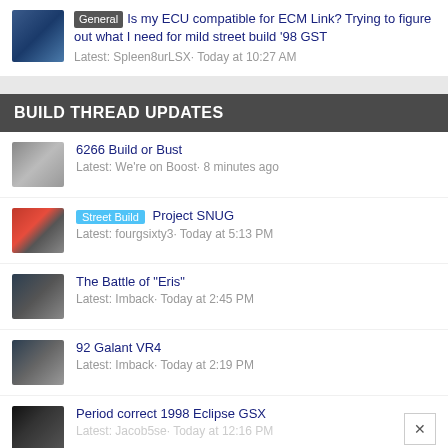General | Is my ECU compatible for ECM Link? Trying to figure out what I need for mild street build '98 GST | Latest: Spleen8urLSX· Today at 10:27 AM
BUILD THREAD UPDATES
6266 Build or Bust | Latest: We're on Boost· 8 minutes ago
Street Build | Project SNUG | Latest: fourgsixty3· Today at 5:13 PM
The Battle of "Eris" | Latest: Imback· Today at 2:45 PM
92 Galant VR4 | Latest: Imback· Today at 2:19 PM
Period correct 1998 Eclipse GSX | Latest: Jacob5se· Today at 12:16 PM